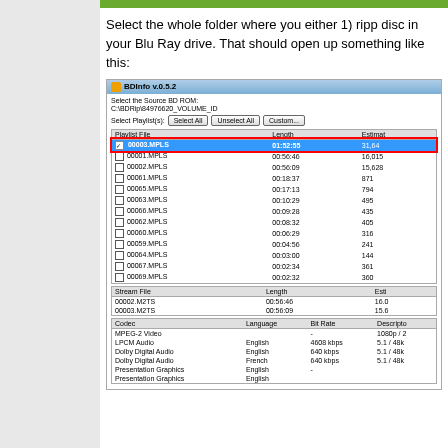Select the whole folder where you either 1) ripp disc in your Blu Ray drive. That should open up something like this:
[Figure (screenshot): BDInfo v.0.5.2 application window showing Source BD ROM path C:\BDRip\84976620_VOLUME_ID, playlist selection with 00003.MPLS selected (highlighted in blue with red border), showing length 01:52:55 and estimated size 31,64x. Below are other playlists, stream files section showing 00002.M2TS and 00003.M2TS, and codec section showing MPEG-2 Video, LPCM Audio (English, 4608 kbps), Dolby Digital Audio (English, 640 kbps), Dolby Digital Audio (French, 640 kbps), Presentation Graphics (English), Presentation Graphics (English).]